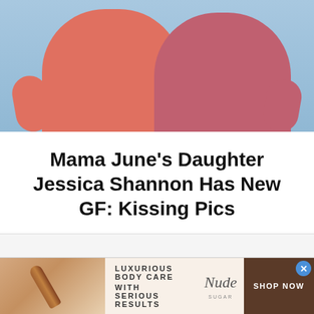[Figure (photo): Two people standing together outdoors against a blue sky background. The person on the left wears a salmon/coral colored shirt, the person on the right wears a dark pink/mauve colored shirt.]
Mama June's Daughter Jessica Shannon Has New GF: Kissing Pics
[Figure (photo): Advertisement banner: Luxurious Body Care With Serious Results - Nude brand ad with shop now button]